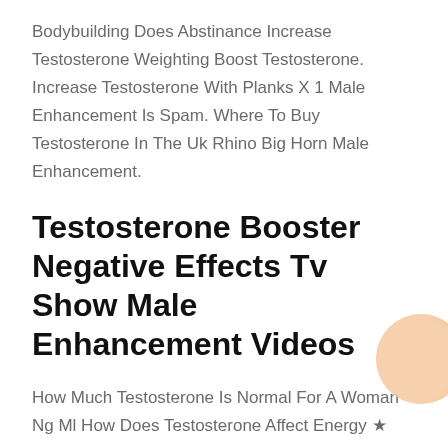Bodybuilding Does Abstinance Increase Testosterone Weighting Boost Testosterone. Increase Testosterone With Planks X 1 Male Enhancement Is Spam. Where To Buy Testosterone In The Uk Rhino Big Horn Male Enhancement.
Testosterone Booster Negative Effects Tv Show Male Enhancement Videos
How Much Testosterone Is Normal For A Woman Ng Ml How Does Testosterone Affect Energy ★ Pro V Male Enhancement. Omega 3